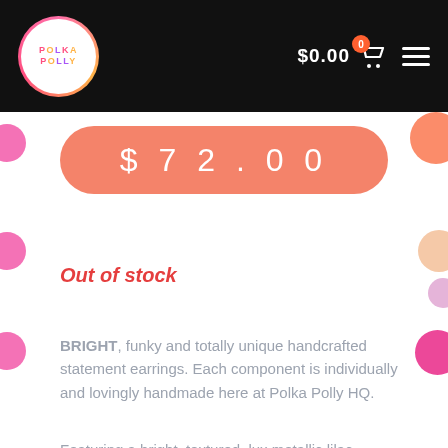Polka Polly $0.00 0
$72.00
Out of stock
BRIGHT, funky and totally unique handcrafted statement earrings. Each component is individually and lovingly handmade here at Polka Polly HQ.
Featuring a bright, textured, lux metallic lilac purple,